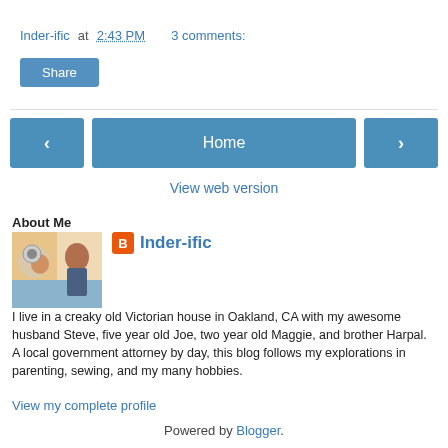Inder-ific at 2:43 PM   3 comments:
Share
[Figure (other): Navigation bar with left arrow button, Home button, and right arrow button, plus View web version link]
About Me
[Figure (photo): Profile photo showing a woman and child]
Inder-ific
I live in a creaky old Victorian house in Oakland, CA with my awesome husband Steve, five year old Joe, two year old Maggie, and brother Harpal. A local government attorney by day, this blog follows my explorations in parenting, sewing, and my many hobbies.
View my complete profile
Powered by Blogger.